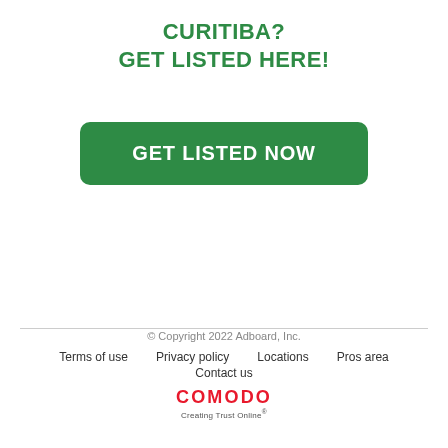CURITIBA?
GET LISTED HERE!
[Figure (other): Green rounded rectangle button with white bold text reading GET LISTED NOW]
© Copyright 2022 Adboard, Inc.
Terms of use   Privacy policy   Locations   Pros area
Contact us
COMODO Creating Trust Online®